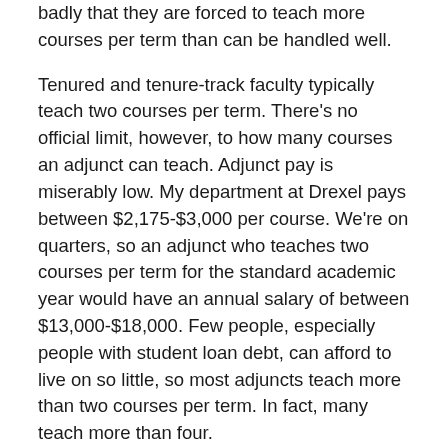badly that they are forced to teach more courses per term than can be handled well.
Tenured and tenure-track faculty typically teach two courses per term. There's no official limit, however, to how many courses an adjunct can teach. Adjunct pay is miserably low. My department at Drexel pays between $2,175-$3,000 per course. We're on quarters, so an adjunct who teaches two courses per term for the standard academic year would have an annual salary of between $13,000-$18,000. Few people, especially people with student loan debt, can afford to live on so little, so most adjuncts teach more than two courses per term. In fact, many teach more than four.
“This class isn’t like the other critical reasoning classes,” one of my students commented recently. “My buddy took